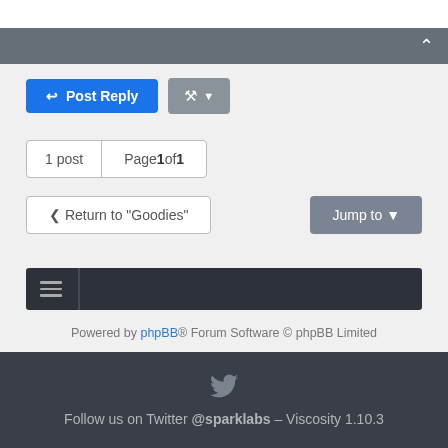[Figure (screenshot): Top grey bar with chevron up icon]
[Figure (screenshot): Post Reply blue button and wrench tool grey button with dropdown]
1 post   Page 1 of 1
< Return to "Goodies"    Jump to ▾
[Figure (screenshot): Dark navigation menu bar with hamburger icon]
Powered by phpBB® Forum Software © phpBB Limited
Follow us on Twitter @sparklabs – Viscosity 1.10.3